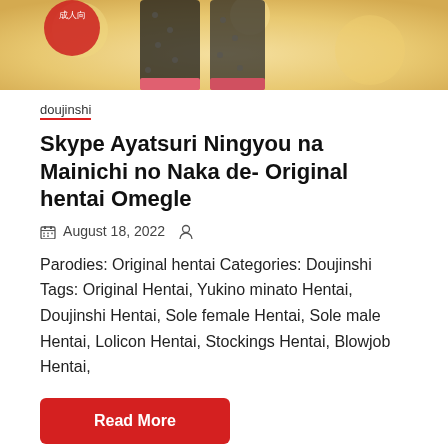[Figure (illustration): Top portion of an anime/manga illustration showing character legs with black polka-dot stockings and pink accents on a warm golden background with a red circular logo/seal in the upper left]
doujinshi
Skype Ayatsuri Ningyou na Mainichi no Naka de- Original hentai Omegle
August 18, 2022
Parodies: Original hentai Categories: Doujinshi Tags: Original Hentai, Yukino minato Hentai, Doujinshi Hentai, Sole female Hentai, Sole male Hentai, Lolicon Hentai, Stockings Hentai, Blowjob Hentai,
Read More
[Figure (illustration): Bottom portion of an anime/manga illustration showing a character with dark hair against a pink/warm background, partially cropped]